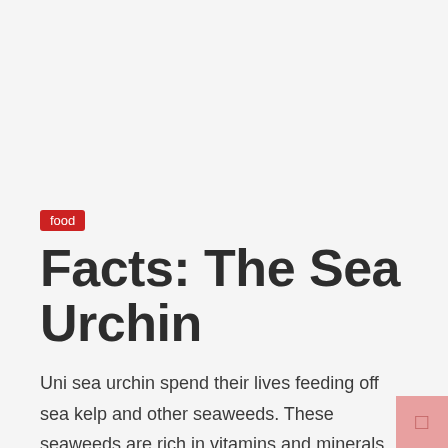food
Facts: The Sea Urchin
Uni sea urchin spend their lives feeding off sea kelp and other seaweeds. These seaweeds are rich in vitamins and minerals. Sea urchin uni is loaded with:
protein